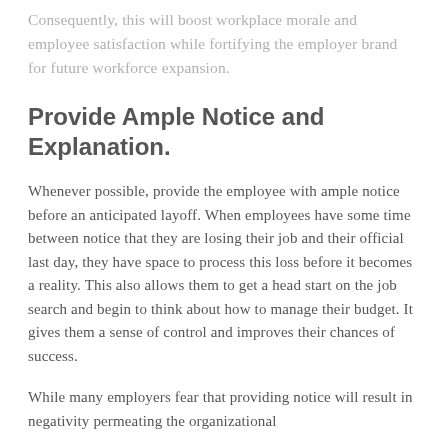Consequently, this will boost workplace morale and employee satisfaction while fortifying the employer brand for future workforce expansion.
Provide Ample Notice and Explanation.
Whenever possible, provide the employee with ample notice before an anticipated layoff. When employees have some time between notice that they are losing their job and their official last day, they have space to process this loss before it becomes a reality. This also allows them to get a head start on the job search and begin to think about how to manage their budget. It gives them a sense of control and improves their chances of success.
While many employers fear that providing notice will result in negativity permeating the organizational